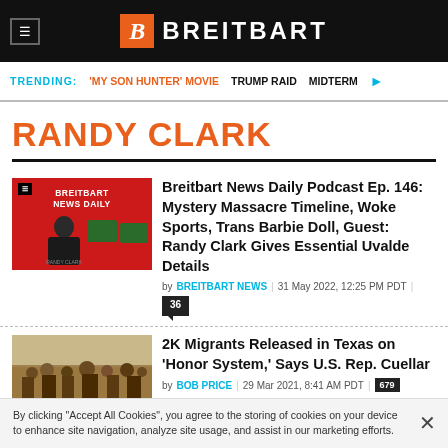BREITBART
TRENDING: 'MY SON HUNTER' MOVIE   TRUMP RAID   MIDTERM
RANDY CLARK
Breitbart News Daily Podcast Ep. 146: Mystery Massacre Timeline, Woke Sports, Trans Barbie Doll, Guest: Randy Clark Gives Essential Uvalde Details
by BREITBART NEWS | 31 May 2022, 12:25 PM PDT | 36
2K Migrants Released in Texas on 'Honor System,' Says U.S. Rep. Cuellar
by BOB PRICE | 29 Mar 2021, 8:41 AM PDT | 679
By clicking "Accept All Cookies", you agree to the storing of cookies on your device to enhance site navigation, analyze site usage, and assist in our marketing efforts.